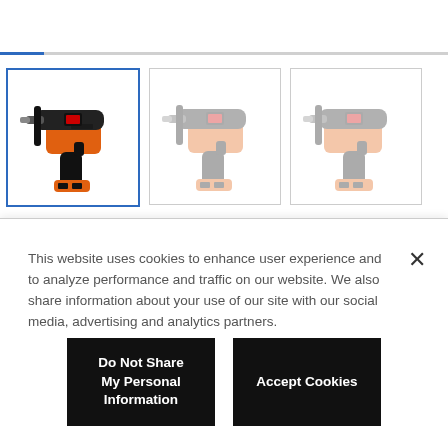[Figure (screenshot): Progress bar with blue segment on left and gray on right, above a row of three product images of a BLACK+DECKER cordless rotary hammer drill. The first image is selected with a blue border. The second and third images are faded/transparent.]
This website uses cookies to enhance user experience and to analyze performance and traffic on our website. We also share information about your use of our site with our social media, advertising and analytics partners.
Do Not Share My Personal Information
Accept Cookies